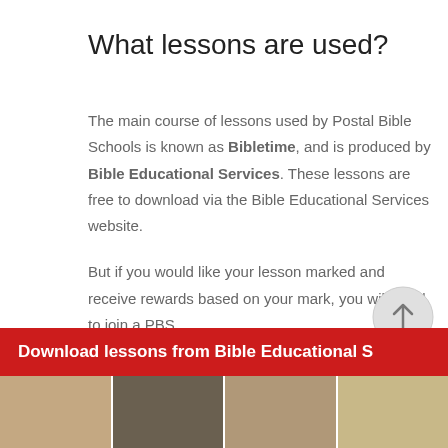What lessons are used?
The main course of lessons used by Postal Bible Schools is known as Bibletime, and is produced by Bible Educational Services. These lessons are free to download via the Bible Educational Services website.
But if you would like your lesson marked and receive rewards based on your mark, you will need to join a PBS.
Download lessons from Bible Educational S
[Figure (photo): Photo strip at bottom showing children with lesson materials]